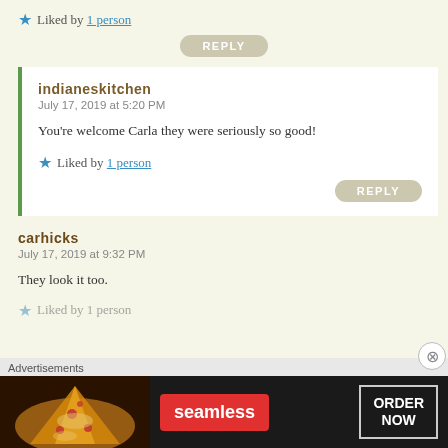★ Liked by 1 person
REPLY
indianeskitchen
July 17, 2019 at 5:20 PM
You're welcome Carla they were seriously so good!
★ Liked by 1 person
REPLY
carhicks
July 17, 2019 at 9:32 PM
They look it too.
★ Liked by 1 person
Advertisements
[Figure (other): Seamless food delivery advertisement banner with pizza image, seamless logo, and ORDER NOW button]